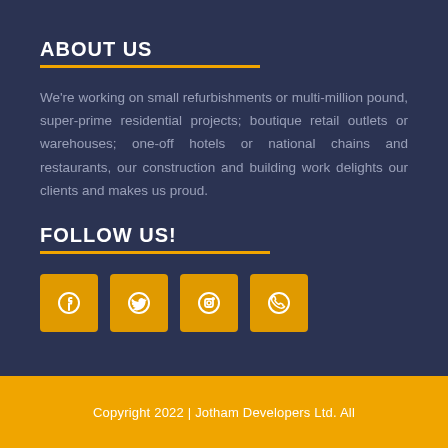ABOUT US
We're working on small refurbishments or multi-million pound, super-prime residential projects; boutique retail outlets or warehouses; one-off hotels or national chains and restaurants, our construction and building work delights our clients and makes us proud.
FOLLOW US!
[Figure (infographic): Four social media icon buttons (Facebook, Twitter, Instagram, WhatsApp) in gold/amber square tiles]
Copyright 2022 | Jotham Developers Ltd. All